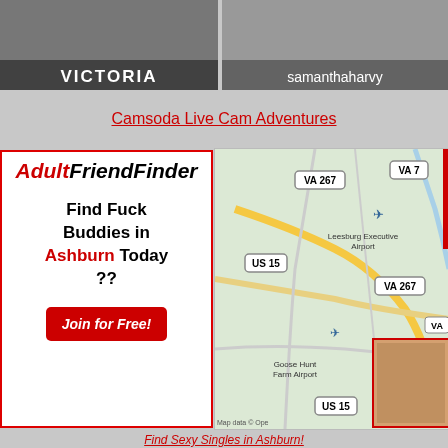[Figure (photo): Top-left thumbnail with label VICTORIA]
[Figure (photo): Top-right thumbnail with label samanthaharvy]
Camsoda Live Cam Adventures
[Figure (infographic): AdultFriendFinder ad: Find Fuck Buddies in Ashburn Today ?? with Join for Free! button]
[Figure (map): Map showing Leesburg Executive Airport, Goose Hunt Farm Airport, VA 267, US 15, VA 7 roads near Ashburn VA]
Find Sexy Singles in Ashburn!